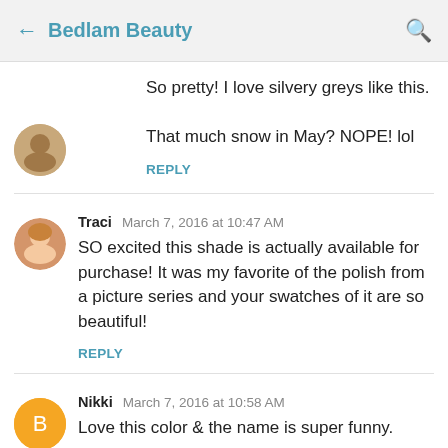← Bedlam Beauty 🔍
So pretty! I love silvery greys like this.

That much snow in May? NOPE! lol
REPLY
Traci  March 7, 2016 at 10:47 AM
SO excited this shade is actually available for purchase! It was my favorite of the polish from a picture series and your swatches of it are so beautiful!
REPLY
Nikki  March 7, 2016 at 10:58 AM
Love this color & the name is super funny.
REPLY
Dina Ramos  March 7, 2016 at 10:05 PM